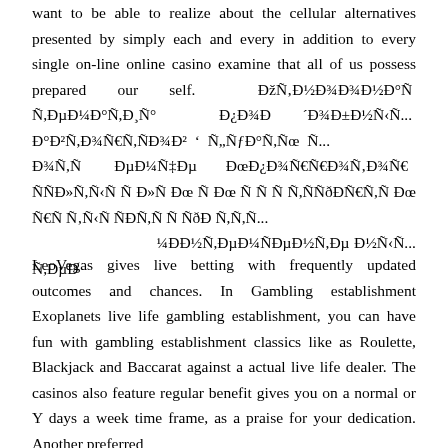want to be able to realize about the cellular alternatives presented by simply each and every in addition to every single on-line online casino examine that all of us possess prepared our self. ÐžÑÐ½Ð¾Ð¾Ð½Ð°Ñ Ñ,ÐµÐ¼Ð°Ñ,Ð¸Ñ° Ð¿Ð¾Ð ´Ð¾Ð±Ð½Ñ‹Ñ... Ð°Ð²Ñ,Ð¾Ñ€Ñ,ÑÐ¾Ð² ‘ Ñ„ÑƒÐ°Ñ,Ñœ Ñ... Ð¾Ñ,Ñ ÐµÐ¼Ñ‡Ðµ ÐœÐ¿Ð¾Ñ€ÑÐ¾Ñ‚Ð¾Ñ€ ÑÑÐ»Ð½Ñ,Ñ ÑÐ»Ñ Ð»Ñ Ðœ Ð›Ñ,Ð¾ Ð»Ñ Ð»Ñ Ðœ ÑÐ¼ÑðÐÑ€Ñ,Ñ Ðœ Ñ Ñ,Ñ€Ñ Ñ‚ÑÐÑ,Ñ,ÑðÐ Ñ,Ñ,Ñ ...
LeoVegas gives live betting with frequently updated outcomes and chances. In Gambling establishment Exoplanets live life gambling establishment, you can have fun with gambling establishment classics like as Roulette, Blackjack and Baccarat against a actual live life dealer. The casinos also feature regular benefit gives you on a normal or Y days a week time frame, as a praise for your dedication. Another preferred